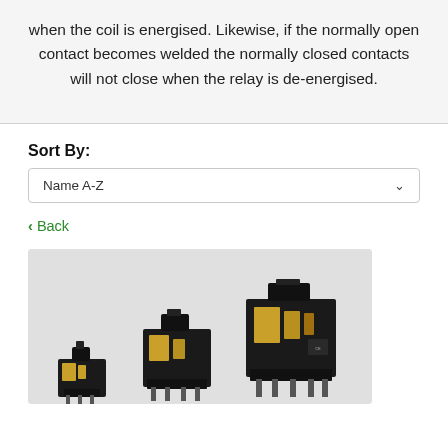when the coil is energised. Likewise, if the normally open contact becomes welded the normally closed contacts will not close when the relay is de-energised.
Sort By:
Name A-Z
‹ Back
[Figure (photo): Three relay module/socket components of increasing size shown against a light gray background. The components are black plastic relay bases/sockets with metal terminals and copper-colored coil windings visible.]